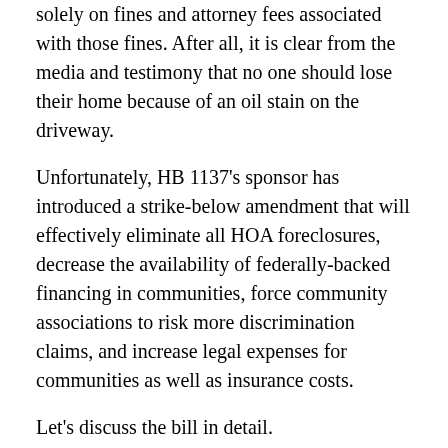solely on fines and attorney fees associated with those fines. After all, it is clear from the media and testimony that no one should lose their home because of an oil stain on the driveway.
Unfortunately, HB 1137’s sponsor has introduced a strike-below amendment that will effectively eliminate all HOA foreclosures, decrease the availability of federally-backed financing in communities, force community associations to risk more discrimination claims, and increase legal expenses for communities as well as insurance costs.
Let’s discuss the bill in detail.
Small Claims
Small Claims courts in Colorado are courts with specific and limited jurisdiction. Corporations generally have to appear before courts in attorneys, and that is Small Claims...